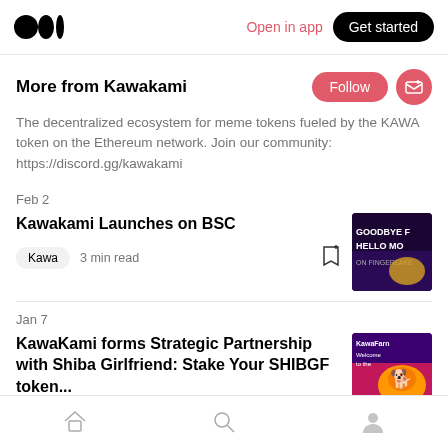Open in app  Get started
More from Kawakami
The decentralized ecosystem for meme tokens fueled by the KAWA token on the Ethereum network. Join our community: https://discord.gg/kawakami
Feb 2
Kawakami Launches on BSC
Kawa  3 min read
Jan 7
KawaKami forms Strategic Partnership with Shiba Girlfriend: Stake Your SHIBGF token...
Home  Search  Profile